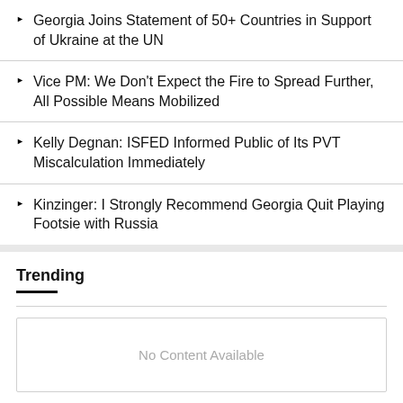Georgia Joins Statement of 50+ Countries in Support of Ukraine at the UN
Vice PM: We Don't Expect the Fire to Spread Further, All Possible Means Mobilized
Kelly Degnan: ISFED Informed Public of Its PVT Miscalculation Immediately
Kinzinger: I Strongly Recommend Georgia Quit Playing Footsie with Russia
Trending
No Content Available